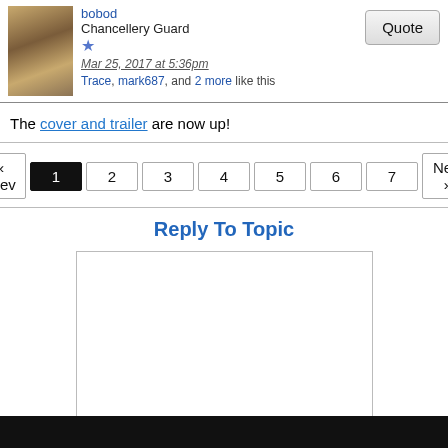bobod
Chancellery Guard
Mar 25, 2017 at 5:36pm
Trace, mark687, and 2 more like this
The cover and trailer are now up!
« Prev 1 2 3 4 5 6 7 Next »
Reply To Topic